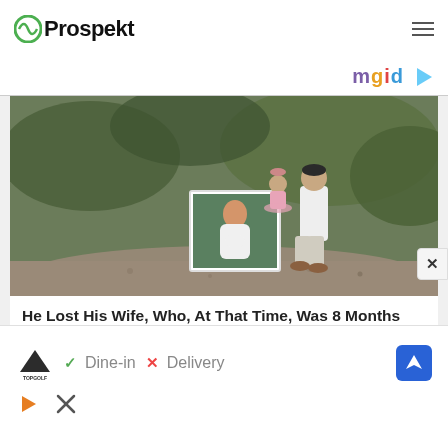Prospekt
[Figure (logo): mgid logo with play button icon]
[Figure (photo): A man crouching outdoors on a gravel path holding a framed photo of a pregnant woman, with a small child in a pink tutu dress beside him, in a natural outdoor setting]
He Lost His Wife, Who, At That Time, Was 8 Months Pregnant
Herbeauty
[Figure (screenshot): Advertisement banner showing TopGolf logo, checkmark Dine-in, X Delivery, and a navigation/map icon]
[Figure (other): Play icon and close X icon at bottom of ad]